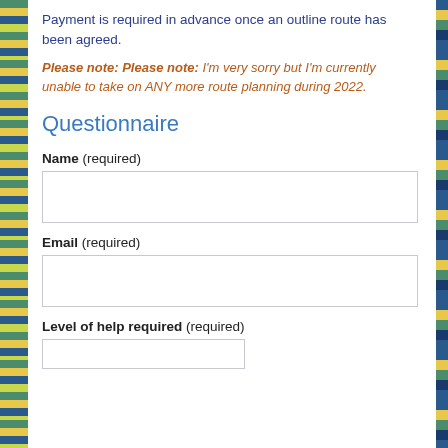Payment is required in advance once an outline route has been agreed.
Please note: Please note: I'm very sorry but I'm currently unable to take on ANY more route planning during 2022.
Questionnaire
Name (required)
Email (required)
Level of help required (required)